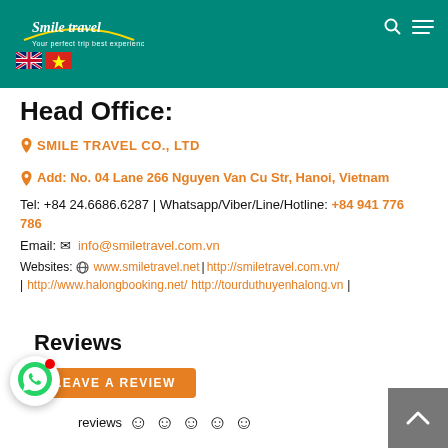[Figure (logo): Smile Travel logo with golden smile arc and white text on teal header, with UK and Vietnam flag icons]
Head Office:
SMILE TRAVEL CO., LTD
Add: No. 04 Lane 266 Nguyen Van Cu Str, Hanoi, Vietnam
Tel: +84 24.6686.6287  | Whatsapp/Viber/Line/Hotline: +84 941 776 786
Email: info@smiletravel.com.vn
Websites: www.smiletravel.net | http://smiletravel.com.vn/ | http://www.halongbooking.net/ http://tourduthuyenhalong.vn |
Reviews
LEAVE A REVIEW
reviews ☺ ☺ ☺ ☺ ☺